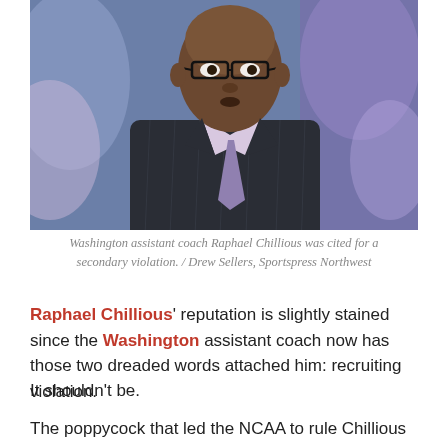[Figure (photo): Washington assistant coach Raphael Chillious in a pinstripe suit and glasses, looking upward, with a blurred purple and gold crowd in the background.]
Washington assistant coach Raphael Chillious was cited for a secondary violation. / Drew Sellers, Sportspress Northwest
Raphael Chillious' reputation is slightly stained since the Washington assistant coach now has those two dreaded words attached him: recruiting violation.
It shouldn't be.
The poppycock that led the NCAA to rule Chillious